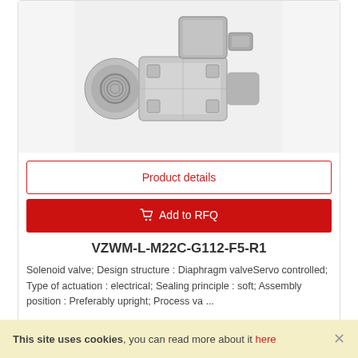[Figure (photo): Solenoid valve product photo - metallic valve component with threaded connections, viewed from front-left angle]
Product details
Add to RFQ
VZWM-L-M22C-G112-F5-R1
Solenoid valve; Design structure : Diaphragm valveServo controlled; Type of actuation : electrical; Sealing principle : soft; Assembly position : Preferably upright; Process va ...
This site uses cookies, you can read more about it here